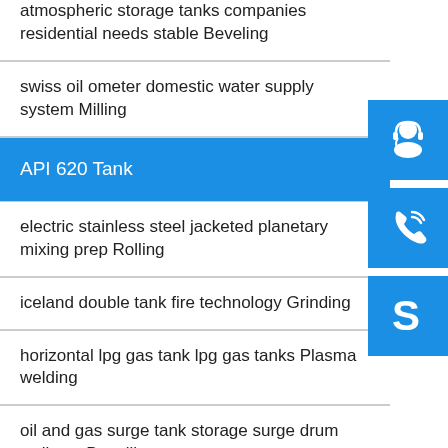atmospheric storage tanks companies residential needs stable Beveling
swiss oil ometer domestic water supply system Milling
API 620 Tank
electric stainless steel jacketed planetary mixing prep Rolling
iceland double tank fire technology Grinding
horizontal lpg gas tank lpg gas tanks Plasma welding
oil and gas surge tank storage surge drum well test Decoiling